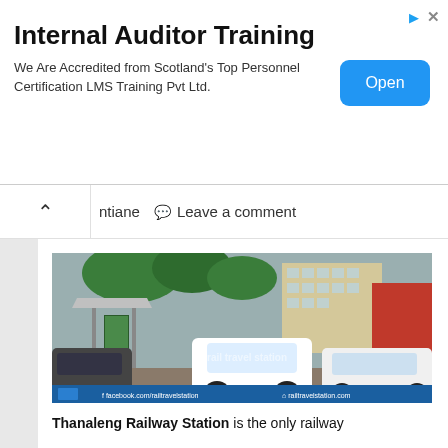[Figure (infographic): Advertisement banner for Internal Auditor Training with Open button]
Internal Auditor Training
We Are Accredited from Scotland's Top Personnel Certification LMS Training Pvt Ltd.
ntiane   Leave a comment
[Figure (photo): Street scene with cars and buses near Thanaleng Railway Station area in Vientiane, Laos. Shows a bus shelter with advertisement board, multiple cars including white Kia Sportage and Hyundai Elantra, and multi-story buildings in background. Blue bar at bottom shows Rail Travel Station logo, facebook.com/railtravelstation, railtravelstation.com]
Thanaleng Railway Station is the only railway